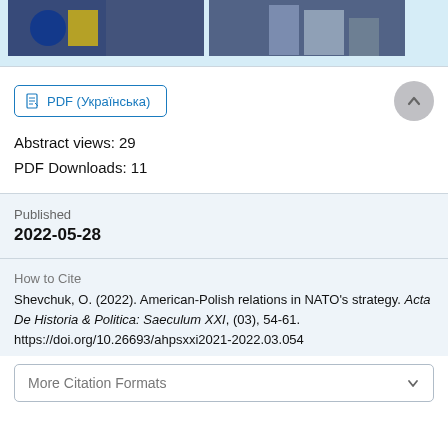[Figure (photo): Two photos side by side: left shows EU and Ukrainian flags, right shows buildings/cityscape at dusk]
PDF (Українська)
Abstract views: 29
PDF Downloads: 11
Published
2022-05-28
How to Cite
Shevchuk, O. (2022). American-Polish relations in NATO's strategy. Acta De Historia & Politica: Saeculum XXI, (03), 54-61. https://doi.org/10.26693/ahpsxxi2021-2022.03.054
More Citation Formats